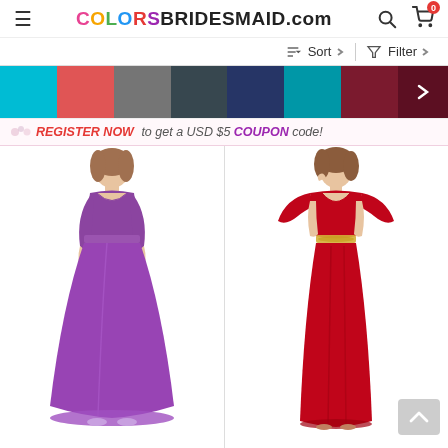COLORSBRIDESMAID.com
Sort  Filter
[Figure (other): Color swatches row: turquoise, coral/red, gray, dark charcoal, navy blue, teal, burgundy/dark red, with a right arrow button for more colors]
REGISTER NOW to get a USD $5 COUPON code!
[Figure (photo): Woman wearing a purple long bridesmaid gown with lace 3/4 sleeves and V-neckline, empire waist, full length]
[Figure (photo): Woman wearing a red long bridesmaid gown with flutter sleeves, V-neckline, and embellished waist]